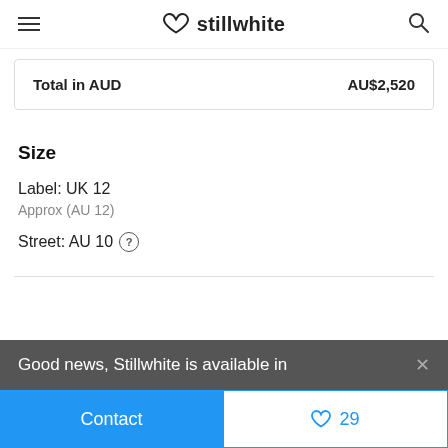stillwhite
| Total in AUD | AU$2,520 |
| --- | --- |
Size
Label: UK 12
Approx (AU 12)
Street: AU 10
Good news, Stillwhite is available in
Contact
29